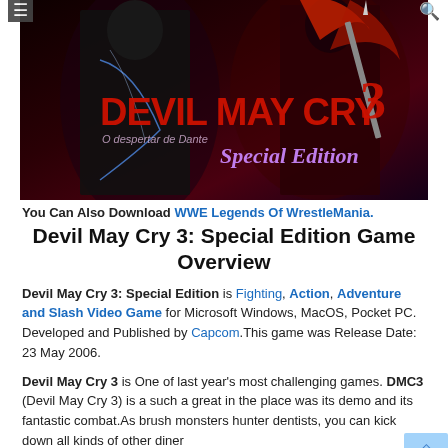[Figure (photo): Devil May Cry 3: Special Edition game cover art showing two characters (Dante and Vergil) with the game logo and 'Special Edition' text on a dark background]
You Can Also Download WWE Legends Of WrestleMania.
Devil May Cry 3: Special Edition Game Overview
Devil May Cry 3: Special Edition is Fighting, Action, Adventure and Slash Video Game for Microsoft Windows, MacOS, Pocket PC. Developed and Published by Capcom.This game was Release Date: 23 May 2006.
Devil May Cry 3 is One of last year's most challenging games. DMC3 (Devil May Cry 3) is a such a great in the place was its demo and its fantastic combat.As brush monsters hunter dentists, you can kick down all kinds of other diner